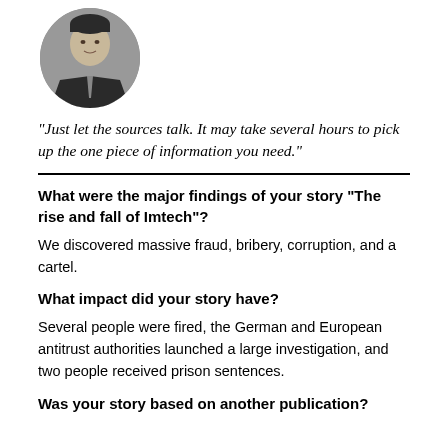[Figure (photo): Circular portrait photo of a man in a suit and tie]
“Just let the sources talk. It may take several hours to pick up the one piece of information you need.”
What were the major findings of your story “The rise and fall of Imtech”?
We discovered massive fraud, bribery, corruption, and a cartel.
What impact did your story have?
Several people were fired, the German and European antitrust authorities launched a large investigation, and two people received prison sentences.
Was your story based on another publication?